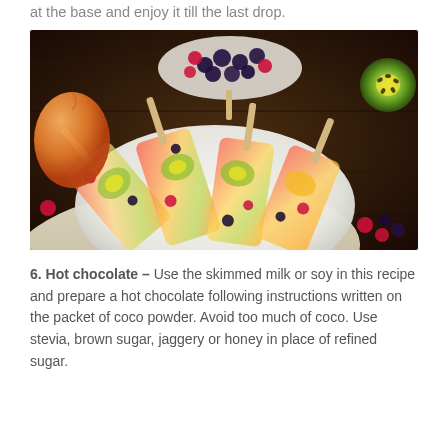at the base and enjoy it till the last drop.
[Figure (photo): Photograph of fruit popsicles/ice lollies with kiwi, berries, and mango pieces on a white plate, surrounded by fresh fruits on a dark wooden surface.]
6. Hot chocolate – Use the skimmed milk or soy in this recipe and prepare a hot chocolate following instructions written on the packet of coco powder. Avoid too much of coco. Use stevia, brown sugar, jaggery or honey in place of refined sugar.